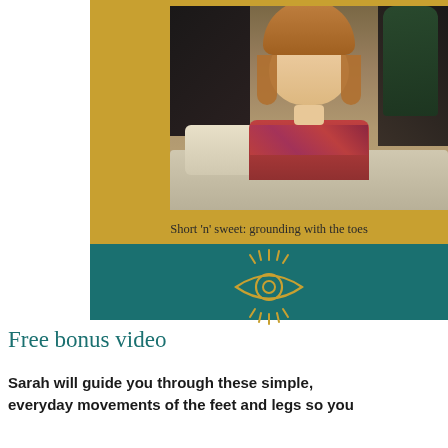[Figure (screenshot): Video thumbnail showing a woman with long brown hair smiling, seated in front of a sofa with plants visible in the background. Gold/yellow background strip framing the video.]
Short 'n' sweet: grounding with the toes
[Figure (illustration): Golden eye/sun logo illustration — an eye shape with radiating lines around it, drawn in gold/yellow outline style on teal background]
2-min Video: Grounding with the toes
Simple movement and breathing to calm your nervous system
Free bonus video
Sarah will guide you through these simple, everyday movements of the feet and legs so you